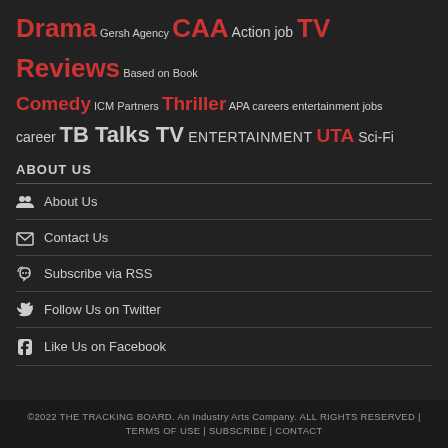Drama Gersh Agency CAA Action job TV Reviews Based on Book Comedy ICM Partners Thriller APA careers entertainment jobs career TB Talks TV ENTERTAINMENT UTA Sci-Fi
ABOUT US
About Us
Contact Us
Subscribe via RSS
Follow Us on Twitter
Like Us on Facebook
©2022 THE TRACKING BOARD. An Industry Arts Company. ALL RIGHTS RESERVED | TERMS OF USE | SUBSCRIBE | CONTACT